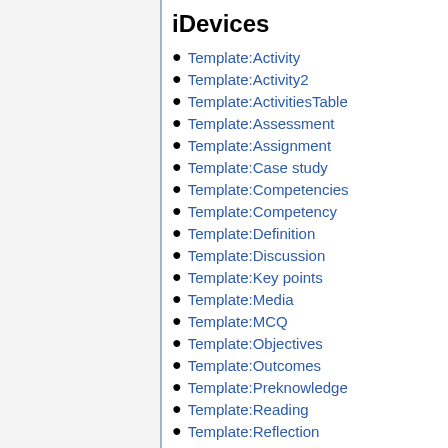iDevices
Template:Activity
Template:Activity2
Template:ActivitiesTable
Template:Assessment
Template:Assignment
Template:Case study
Template:Competencies
Template:Competency
Template:Definition
Template:Discussion
Template:Key points
Template:Media
Template:MCQ
Template:Objectives
Template:Outcomes
Template:Preknowledge
Template:Reading
Template:Reflection
Template:Reflection2